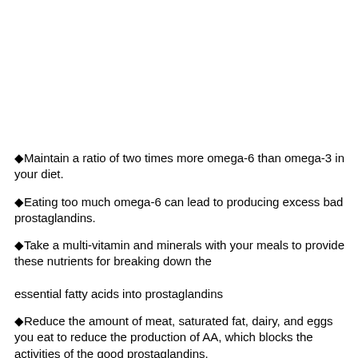Maintain a ratio of two times more omega-6 than omega-3 in your diet.
Eating too much omega-6 can lead to producing excess bad prostaglandins.
Take a multi-vitamin and minerals with your meals to provide these nutrients for breaking down the essential fatty acids into prostaglandins
Reduce the amount of meat, saturated fat, dairy, and eggs you eat to reduce the production of AA, which blocks the activities of the good prostaglandins.